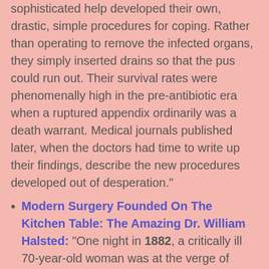sophisticated help developed their own, drastic, simple procedures for coping. Rather than operating to remove the infected organs, they simply inserted drains so that the pus could run out. Their survival rates were phenomenally high in the pre-antibiotic era when a ruptured appendix ordinarily was a death warrant. Medical journals published later, when the doctors had time to write up their findings, describe the new procedures developed out of desperation."
Modern Surgery Founded On The Kitchen Table: The Amazing Dr. William Halsted: "One night in 1882, a critically ill 70-year-old woman was at the verge of death at her daughter's home, suffering from fever, crippling pain, nausea, and an inflamed abdominal mass. At 2:00AM, a courageous surgeon put her on the kitchen table and performed the first known operation to remove gallstones. The patient recovered